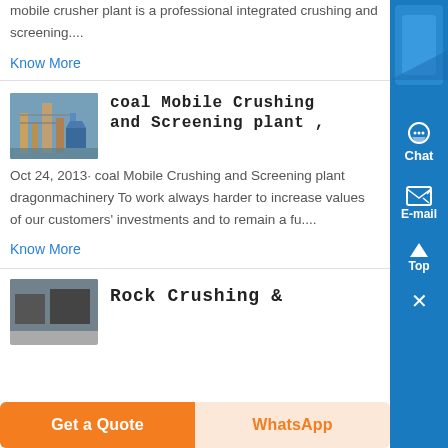mobile crusher plant is a professional integrated crushing and screening....
Know More
[Figure (photo): Industrial coal mobile crushing and screening plant machinery photo]
coal Mobile Crushing and Screening plant ,
Oct 24, 2013· coal Mobile Crushing and Screening plant dragonmachinery To work always harder to increase values of our customers' investments and to remain a fu....
Know More
Rock Crushing &
Get a Quote
WhatsApp